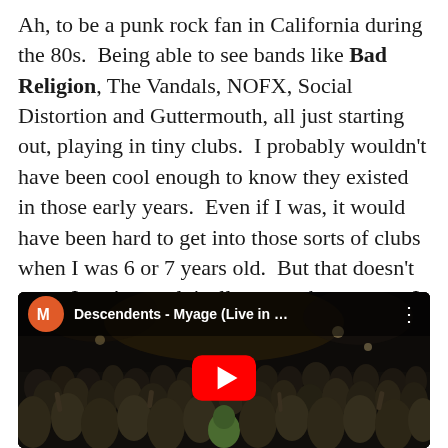Ah, to be a punk rock fan in California during the 80s. Being able to see bands like Bad Religion, The Vandals, NOFX, Social Distortion and Guttermouth, all just starting out, playing in tiny clubs. I probably wouldn't have been cool enough to know they existed in those early years. Even if I was, it would have been hard to get into those sorts of clubs when I was 6 or 7 years old. But that doesn't mean I can't nostalgically remember a scene I was never even a part thorugh rose coloured glasses.
[Figure (screenshot): Embedded YouTube video player showing 'Descendents - Myage (Live in ...' with a concert crowd photo, YouTube play button, and channel icon (orange circle with M logo).]